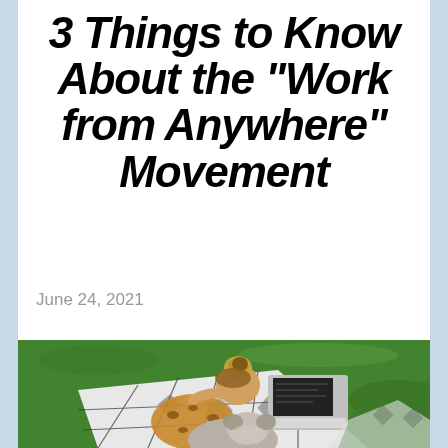3 Things to Know About the "Work from Anywhere" Movement
June 24, 2021
[Figure (photo): Aerial view of a woman lying on a patterned blanket on grass, working on a laptop, with a dog beside her.]